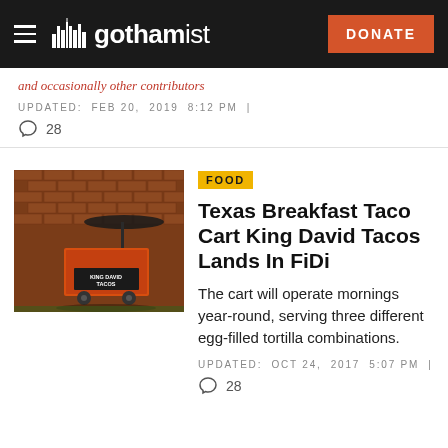gothamist — DONATE
and occasionally other contributors
UPDATED: FEB 20, 2019 8:12 PM | 28
[Figure (photo): A red food cart with 'King David Tacos' signage in front of a brick wall]
FOOD
Texas Breakfast Taco Cart King David Tacos Lands In FiDi
The cart will operate mornings year-round, serving three different egg-filled tortilla combinations.
UPDATED: OCT 24, 2017 5:07 PM | 28